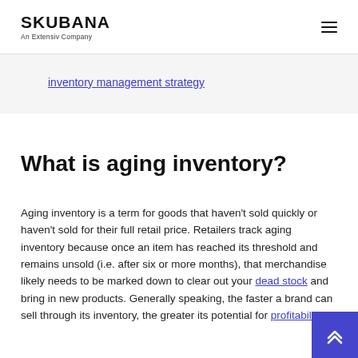SKUBANA — An Extensiv Company
inventory management strategy
What is aging inventory?
Aging inventory is a term for goods that haven't sold quickly or haven't sold for their full retail price. Retailers track aging inventory because once an item has reached its threshold and remains unsold (i.e. after six or more months), that merchandise likely needs to be marked down to clear out your dead stock and bring in new products. Generally speaking, the faster a brand can sell through its inventory, the greater its potential for profitability.